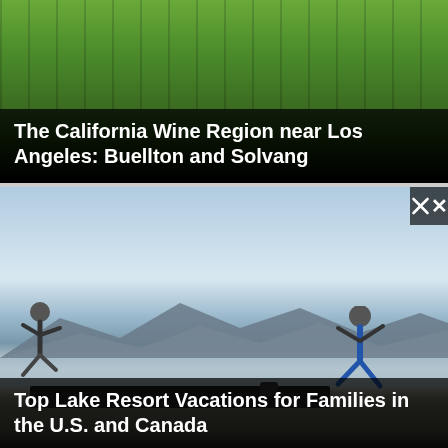[Figure (photo): Vineyard scene with green grapevine rows and fence posts, dark sky below]
The California Wine Region near Los Angeles: Buellton and Solvang
[Figure (photo): Two children jumping off a dock into a lake with mountain range in background under partly cloudy sky]
Top Lake Resort Vacations for Families in the U.S. and Canada